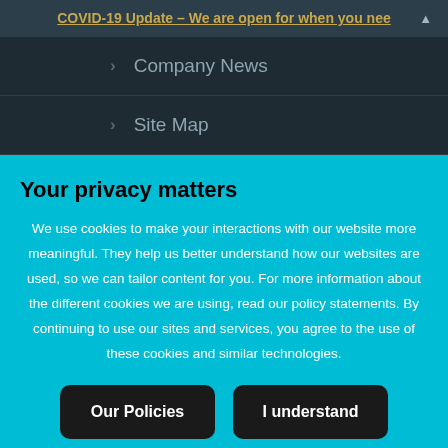COVID-19 Update – We are open for when you nee
Company News
Site Map
Your privacy matters
We use cookies to make your interactions with our website more meaningful. They help us better understand how our websites are used, so we can tailor content for you. For more information about the different cookies we are using, read our policy statements. By continuing to use our sites and services, you agree to the use of these cookies and similar technologies.
Our Policies
I understand